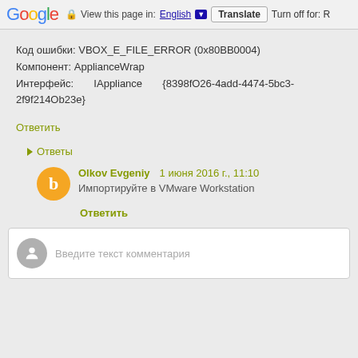Google  View this page in: English [▼] Translate  Turn off for: R
Код ошибки: VBOX_E_FILE_ERROR (0x80BB0004)
Компонент: ApplianceWrap
Интерфейс:       IAppliance       {8398fO26-4add-4474-5bc3-2f9f214Ob23e}
Ответить
▸ Ответы
Olkov Evgeniy    1 июня 2016 г., 11:10
Импортируйте в VMware Workstation
Ответить
Введите текст комментария